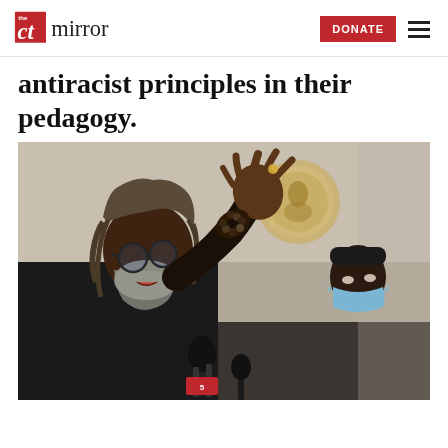the CT mirror | DONATE
antiracist principles in their pedagogy.
[Figure (photo): A Black man with dreadlocks and glasses, wearing a black jacket and beaded bracelet, raises his hand and speaks passionately at a press conference or public event inside what appears to be a government building with a relief medallion on the wall. A person wearing a blue face mask is visible in the background.]